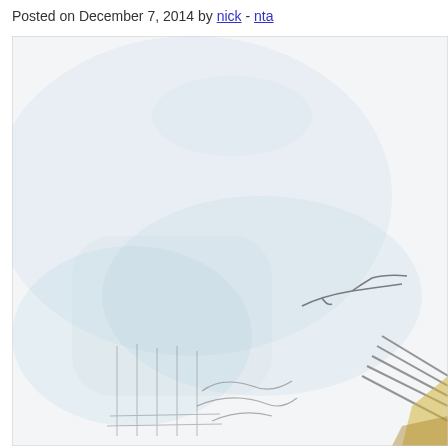Posted on December 7, 2014 by nick - nta
[Figure (illustration): A faint, mostly white sketch/watercolor illustration. The image is largely blank and pale, with very light blue-grey washes. In the lower portion, there are loose pencil or ink sketch lines suggesting architectural or structural elements, with some darker gestural marks. In the lower right corner, yellow and brown tones appear. The overall image is very light and indistinct, resembling an early-stage sketch or faded artwork.]